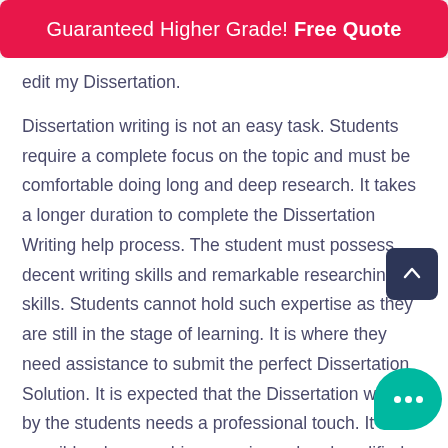Guaranteed Higher Grade! Free Quote
edit my Dissertation.
Dissertation writing is not an easy task. Students require a complete focus on the topic and must be comfortable doing long and deep research. It takes a longer duration to complete the Dissertation Writing help process. The student must possess decent writing skills and remarkable researching skills. Students cannot hold such expertise as they are still in the stage of learning. It is where they need assistance to submit the perfect Dissertation Solution. It is expected that the Dissertation written by the students needs a professional touch. It is possible when you hire experienced and qualified Dissertation Editing Helpers from us. Please do the complete t